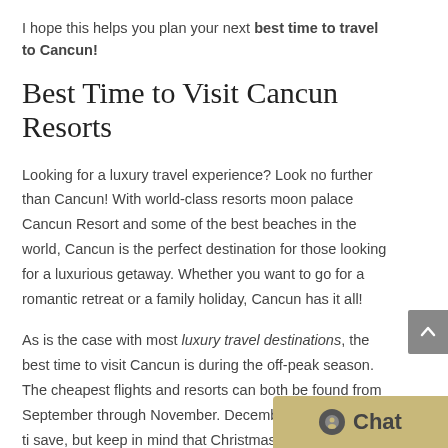I hope this helps you plan your next best time to travel to Cancun!
Best Time to Visit Cancun Resorts
Looking for a luxury travel experience? Look no further than Cancun! With world-class resorts moon palace Cancun Resort and some of the best beaches in the world, Cancun is the perfect destination for those looking for a luxurious getaway. Whether you want to go for a romantic retreat or a family holiday, Cancun has it all!
As is the case with most luxury travel destinations, the best time to visit Cancun is during the off-peak season. The cheapest flights and resorts can both be found from September through November. December is also a great ti... save, but keep in mind that Christmas time is